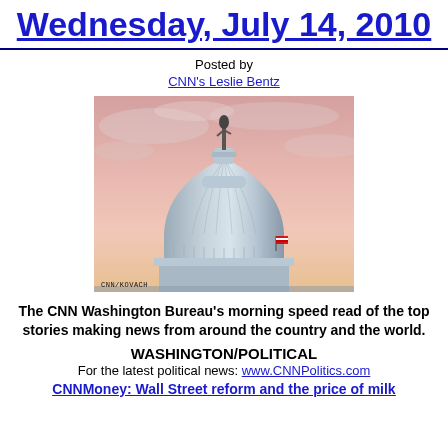Wednesday, July 14, 2010
Posted by
CNN's Leslie Bentz
[Figure (photo): Photo of the U.S. Capitol dome at sunset/dusk with pink sky. A statue is visible atop the dome and an American flag is visible at lower right. Credit: CNN/KOVACH]
The CNN Washington Bureau's morning speed read of the top stories making news from around the country and the world.
WASHINGTON/POLITICAL
For the latest political news: www.CNNPolitics.com
CNNMoney: Wall Street reform and the price of milk